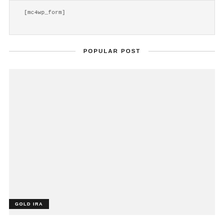[mc4wp_form]
POPULAR POST
[Figure (photo): Large light gray image placeholder box for a popular post]
GOLD IRA